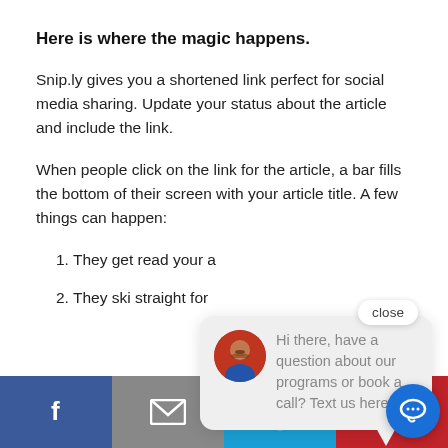Here is where the magic happens.
Snip.ly gives you a shortened link perfect for social media sharing. Update your status about the article and include the link.
When people click on the link for the article, a bar fills the bottom of their screen with your article title. A few things can happen:
1. They get [partially obscured by popup] read your a[rticle]
2. They ski[p] [partially obscured] straight for[...]
3. They skip your article.
[Figure (screenshot): Chat popup bubble with avatar photo and message: 'Hi there, have a question about our programs or book a call? Text us here.' with a close button above it.]
[Figure (infographic): Bottom share bar with Facebook, Email, SMS, Pinterest icons and a floating blue chat circle button.]